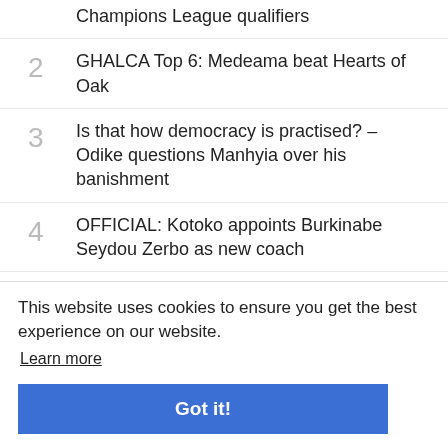Champions League qualifiers
2  GHALCA Top 6: Medeama beat Hearts of Oak
3  Is that how democracy is practised? – Odike questions Manhyia over his banishment
4  OFFICIAL: Kotoko appoints Burkinabe Seydou Zerbo as new coach
5  Canada joins the US to launch their own 'Ghanacard' to enhance national identity system and gov't services
This website uses cookies to ensure you get the best experience on our website.
Learn more
Got it!